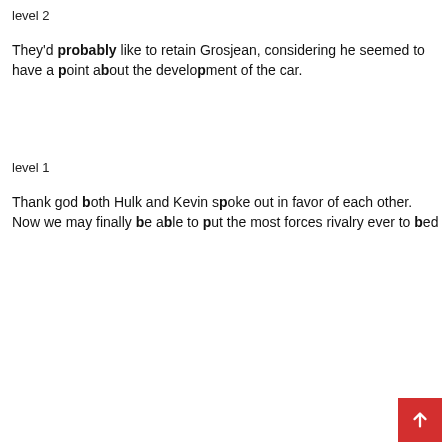level 2
They'd probably like to retain Grosjean, considering he seemed to have a point about the development of the car.
level 1
Thank god both Hulk and Kevin spoke out in favor of each other. Now we may finally be able to put the most forces rivalry ever to bed